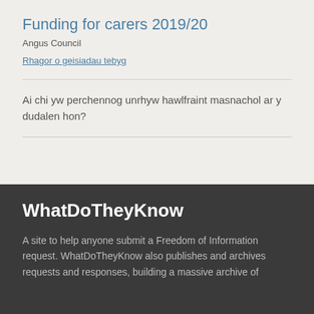Funding for carers 2019/20
Angus Council
Rhagor o geisiadau tebyg
Ai chi yw perchennog unrhyw hawlfraint masnachol ar y dudalen hon?
WhatDoTheyKnow
A site to help anyone submit a Freedom of Information request. WhatDoTheyKnow also publishes and archives requests and responses, building a massive archive of